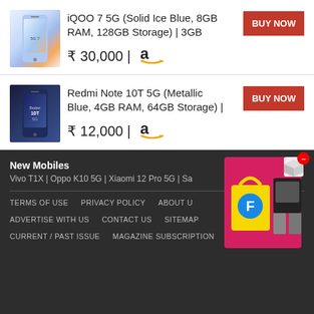iQOO 7 5G (Solid Ice Blue, 8GB RAM, 128GB Storage) | 3GB — ₹ 30,000 | Amazon — BUY NOW
Redmi Note 10T 5G (Metallic Blue, 4GB RAM, 64GB Storage) | — ₹ 12,000 | Amazon — BUY NOW
New Mobiles
Vivo T1X | Oppo K10 5G | Xiaomi 12 Pro 5G | Sa...
TERMS OF USE   PRIVACY POLICY   ABOUT U...
ADVERTISE WITH US   CONTACT US   SITEMAP
CURRENT / PAST ISSUE   MAGAZINE SUBSCRIPTION